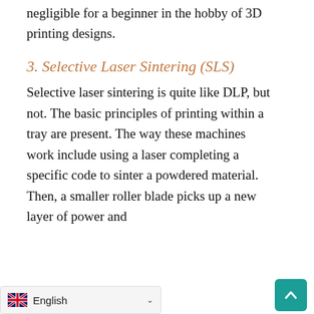negligible for a beginner in the hobby of 3D printing designs.
3. Selective Laser Sintering (SLS)
Selective laser sintering is quite like DLP, but not. The basic principles of printing within a tray are present. The way these machines work include using a laser completing a specific code to sinter a powdered material. Then, a smaller roller blade picks up a new layer of power and